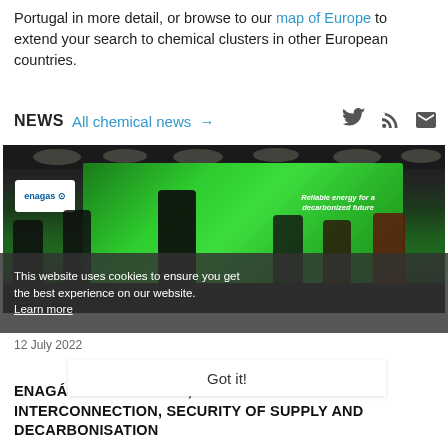Portugal in more detail, or browse to our map of Europe to extend your search to chemical clusters in other European countries.
NEWS  All chemical news →
[Figure (photo): Photo of a press conference or event with several people on stage in front of a green screen showing 'Reliable energy for a decarbonized future' with Enagás branding. Overhead ceiling lights visible. A cookie consent overlay appears over the lower portion of the image with text 'This website uses cookies to ensure you get the best experience on our website. Learn more' and a 'Got it!' button.]
12 July 2022
ENAGÁS WILL INVEST 4,775 MILLION EUROS IN INTERCONNECTION, SECURITY OF SUPPLY AND DECARBONISATION